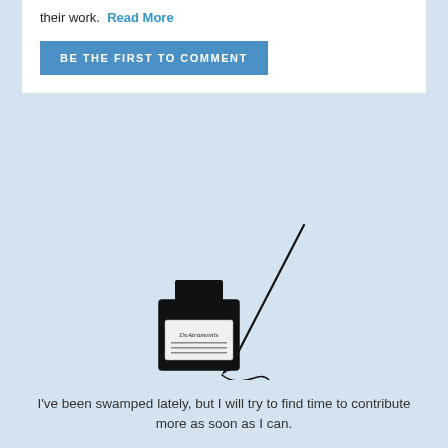their work.  Read More
BE THE FIRST TO COMMENT
[Figure (illustration): An illustration of an ink bottle (labeled DeAtramentis or similar) with a dip pen/nib resting beside it, with a small ink flourish at the bottom.]
I've been swamped lately, but I will try to find time to contribute more as soon as I can.